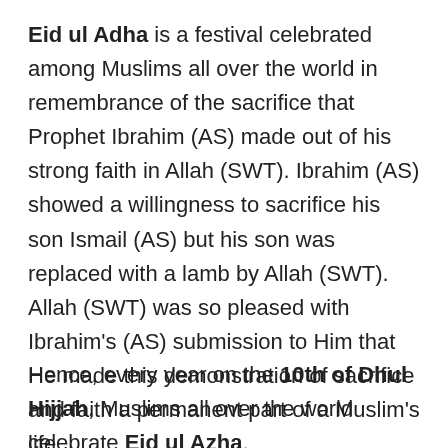Eid ul Adha is a festival celebrated among Muslims all over the world in remembrance of the sacrifice that Prophet Ibrahim (AS) made out of his strong faith in Allah (SWT). Ibrahim (AS) showed a willingness to sacrifice his son Ismail (AS) but his son was replaced with a lamb by Allah (SWT). Allah (SWT) was so pleased with Ibrahim's (AS) submission to Him that He made this demonstration of sacrifice and faith a permanent part of a Muslim's life.
Hence, every year on the 10th of Dhul Hijjah, Muslims all over the world celebrate Eid ul Azha.